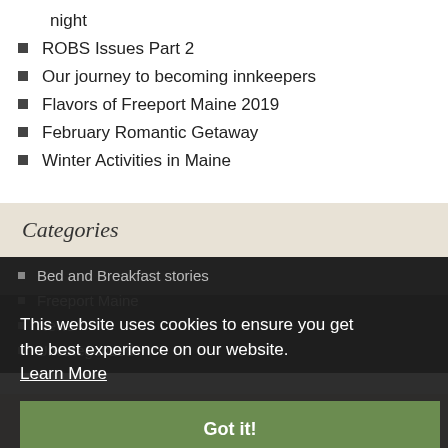night
ROBS Issues Part 2
Our journey to becoming innkeepers
Flavors of Freeport Maine 2019
February Romantic Getaway
Winter Activities in Maine
Categories
Bed and Breakfast stories
Freeport Maine
News
Uncategorized
This website uses cookies to ensure you get the best experience on our website. Learn More
Got it!
Tags